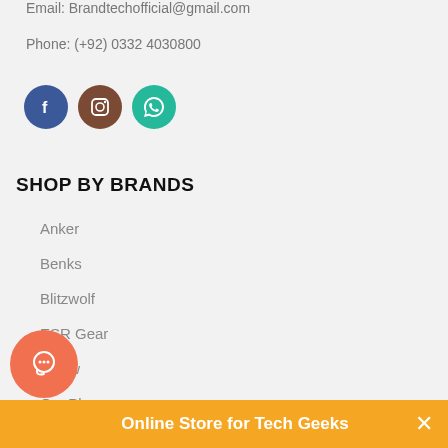Email: Brandtechofficial@gmail.com
Phone: (+92) 0332 4030800
[Figure (other): Social media icons: Facebook (blue circle), Instagram (brown circle), WhatsApp (teal circle)]
SHOP BY BRANDS
Anker
Benks
Blitzwolf
ESR Gear
Mpow
OnePlus
[Figure (other): Orange/coral circular chat button with chat icon and GoGetChat label below]
Online Store for Tech Geeks